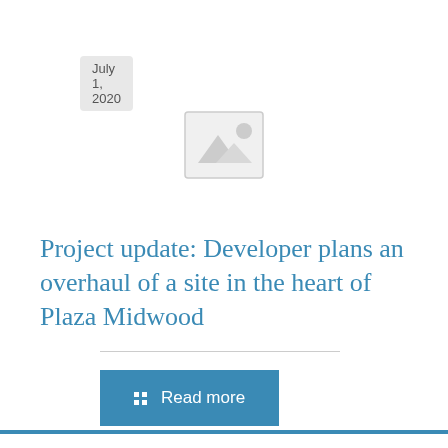July 1, 2020
[Figure (illustration): Placeholder image icon — a grey bordered square with a mountain/landscape image placeholder icon (triangle peaks and a circle sun)]
Project update: Developer plans an overhaul of a site in the heart of Plaza Midwood
Read more